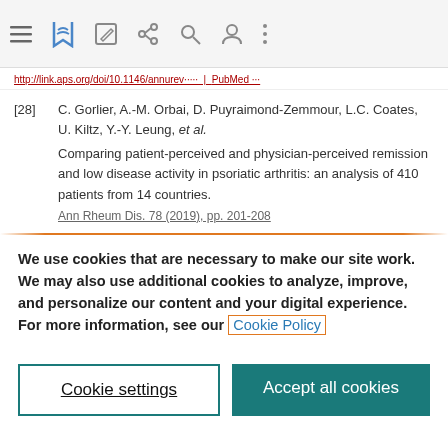[Figure (screenshot): Browser navigation bar with hamburger menu, bookmark icon (blue), edit icon, share icon, search icon, user icon, and more options icon]
http://link.aps.org/doi/10.1146/annurev... | PubMed ...
[28] C. Gorlier, A.-M. Orbai, D. Puyraimond-Zemmour, L.C. Coates, U. Kiltz, Y.-Y. Leung, et al. Comparing patient-perceived and physician-perceived remission and low disease activity in psoriatic arthritis: an analysis of 410 patients from 14 countries. Ann Rheum Dis. 78 (2019), pp. 201-208
We use cookies that are necessary to make our site work. We may also use additional cookies to analyze, improve, and personalize our content and your digital experience. For more information, see our Cookie Policy
Cookie settings
Accept all cookies